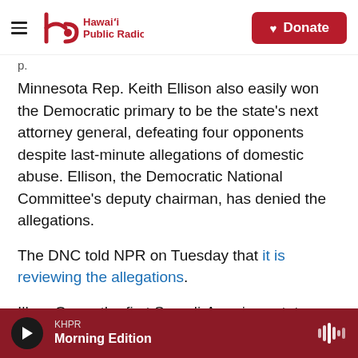Hawaiʻi Public Radio — Donate
Minnesota Rep. Keith Ellison also easily won the Democratic primary to be the state's next attorney general, defeating four opponents despite last-minute allegations of domestic abuse. Ellison, the Democratic National Committee's deputy chairman, has denied the allegations.
The DNC told NPR on Tuesday that it is reviewing the allegations.
Ilhan Omar, the first Somali-American state legislator in the country, won the Democratic
KHPR Morning Edition